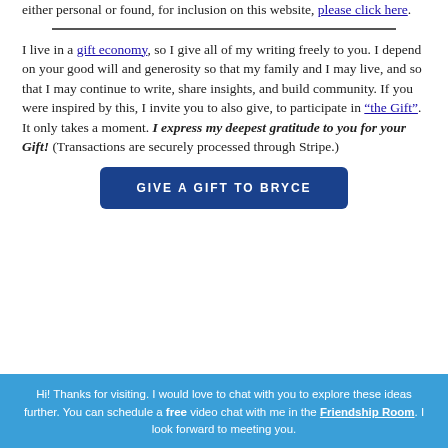either personal or found, for inclusion on this website, please click here.
I live in a gift economy, so I give all of my writing freely to you. I depend on your good will and generosity so that my family and I may live, and so that I may continue to write, share insights, and build community. If you were inspired by this, I invite you to also give, to participate in "the Gift". It only takes a moment. I express my deepest gratitude to you for your Gift! (Transactions are securely processed through Stripe.)
[Figure (other): Button: GIVE A GIFT TO BRYCE]
Hi! Thanks for visiting. I would love to chat with you to explore these ideas further. You can schedule a free video chat with me in the Friendship Room. I look forward to meeting you.